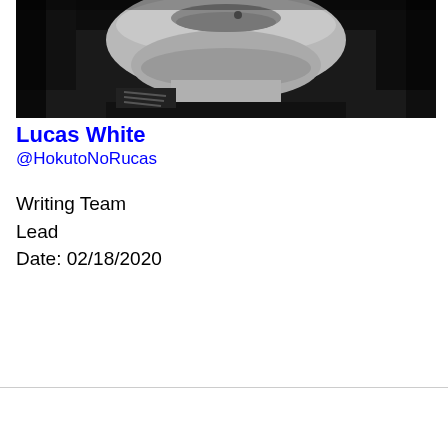[Figure (photo): Black and white close-up photo of a person's face (lower portion visible), wearing a black shirt, with a lip piercing.]
Lucas White
@HokutoNoRucas
Writing Team
Lead
Date: 02/18/2020